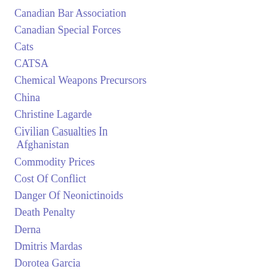Canadian Bar Association
Canadian Special Forces
Cats
CATSA
Chemical Weapons Precursors
China
Christine Lagarde
Civilian Casualties In Afghanistan
Commodity Prices
Cost Of Conflict
Danger Of Neonictinoids
Death Penalty
Derna
Dmitris Mardas
Dorotea Garcia
Drones